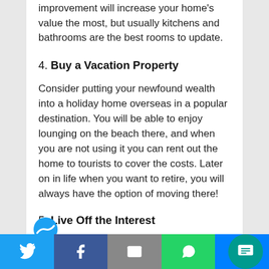improvement will increase your home's value the most, but usually kitchens and bathrooms are the best rooms to update.
4. Buy a Vacation Property
Consider putting your newfound wealth into a holiday home overseas in a popular destination. You will be able to enjoy lounging on the beach there, and when you are not using it you can rent out the home to tourists to cover the costs. Later on in life when you want to retire, you will always have the option of moving there!
5. Live Off the Interest